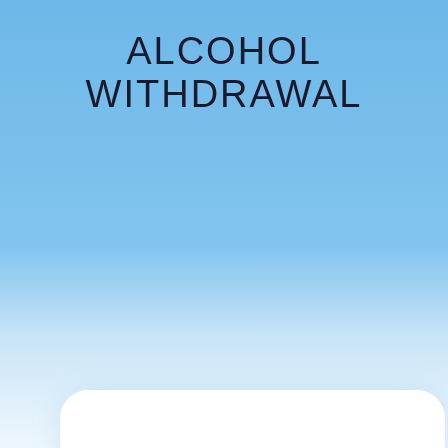ALCOHOL WITHDRAWAL
SPEAK TO A PROFESSIONAL CONFIDENTIALLY
TALK NOW